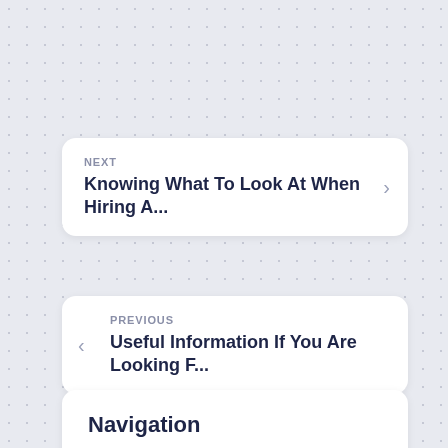NEXT
Knowing What To Look At When Hiring A...
PREVIOUS
Useful Information If You Are Looking F...
Navigation
— Tentang kami
— Kebijakan Privasi
— Disclaimer
— SITEMAP